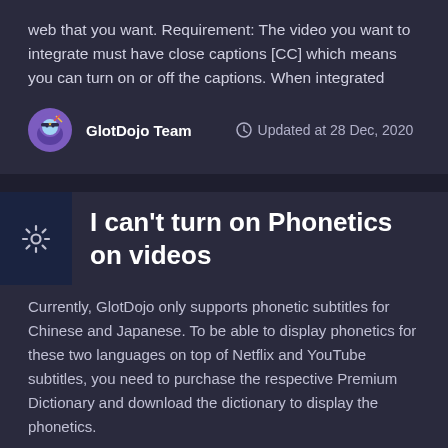web that you want. Requirement: The video you want to integrate must have close captions [CC] which means you can turn on or off the captions. When integrated
GlotDojo Team   Updated at 28 Dec, 2020
I can't turn on Phonetics on videos
Currently, GlotDojo only supports phonetic subtitles for Chinese and Japanese. To be able to display phonetics for these two languages on top of Netflix and YouTube subtitles, you need to purchase the respective Premium Dictionary and download the dictionary to display the phonetics.